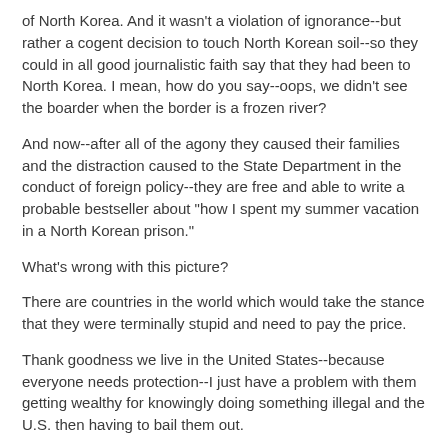of North Korea. And it wasn't a violation of ignorance--but rather a cogent decision to touch North Korean soil--so they could in all good journalistic faith say that they had been to North Korea. I mean, how do you say--oops, we didn't see the boarder when the border is a frozen river?
And now--after all of the agony they caused their families and the distraction caused to the State Department in the conduct of foreign policy--they are free and able to write a probable bestseller about "how I spent my summer vacation in a North Korean prison."
What's wrong with this picture?
There are countries in the world which would take the stance that they were terminally stupid and need to pay the price.
Thank goodness we live in the United States--because everyone needs protection--I just have a problem with them getting wealthy for knowingly doing something illegal and the U.S. then having to bail them out.